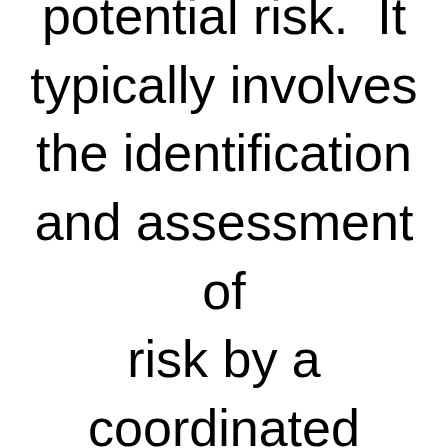potential risk. It typically involves the identification and assessment of risk by a coordinated application of resources to